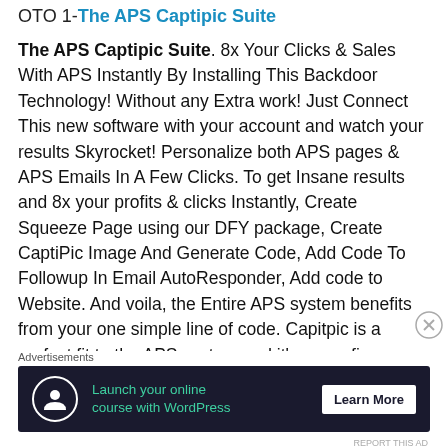OTO 1- The APS Captipic Suite
The APS Captipic Suite. 8x Your Clicks & Sales With APS Instantly By Installing This Backdoor Technology! Without any Extra work! Just Connect This new software with your account and watch your results Skyrocket! Personalize both APS pages & APS Emails In A Few Clicks. To get Insane results and 8x your profits & clicks Instantly, Create Squeeze Page using our DFY package, Create CaptiPic Image And Generate Code, Add Code To Followup In Email AutoResponder, Add code to Website. And voila, the Entire APS system benefits from your one simple line of code. Capitpic is a perfect fit to the APS system and it's a surefire way to get better results and
Advertisements
[Figure (infographic): Advertisement banner: dark navy background with white circle icon showing a person silhouette, green text reading 'Launch your online course with WordPress', and a white 'Learn More' button.]